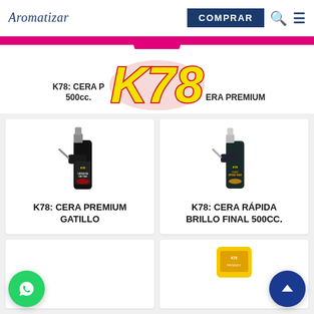Aromatizar — COMPRAR
[Figure (logo): K78 brand logo — large yellow italic bold text K78 with red outline, displayed on a white background over a pink/magenta bar]
K78: CERA P... 500cc.
ERA PREMIUM
[Figure (photo): Black spray bottle with trigger, K78 Carnauba Car Wax label showing a red sports car]
K78: CERA PREMIUM GATILLO
[Figure (photo): Dark spray bottle with trigger, K78 Turbo Spray Wax label showing an orange sports car]
K78: CERA RÁPIDA BRILLO FINAL 500cc.
[Figure (photo): Partial view of a K78 product with yellow/orange packaging, bottom of page]